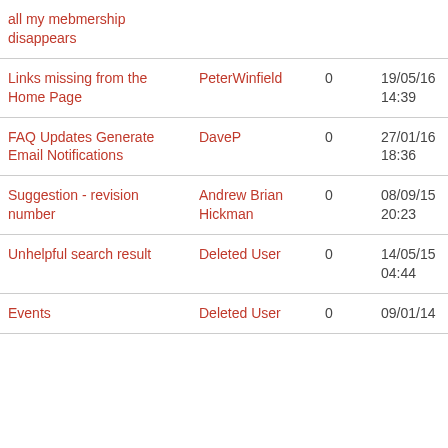| Title | Author | Replies | Created | Last Post |
| --- | --- | --- | --- | --- |
| all my mebmership disappears |  |  |  |  |
| Links missing from the Home Page | PeterWinfield | 0 | 19/05/16 14:39 | 19/05 14:39 |
| FAQ Updates Generate Email Notifications | DaveP | 0 | 27/01/16 18:36 | 27/01 18:36 |
| Suggestion - revision number | Andrew Brian Hickman | 0 | 08/09/15 20:23 | 08/09 20:23 |
| Unhelpful search result | Deleted User | 0 | 14/05/15 04:44 | 14/05 04:44 |
| Events | Deleted User | 0 | 09/01/14 | 09/01 |